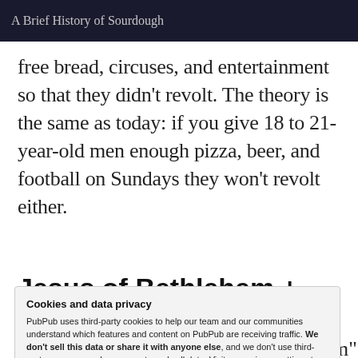A Brief History of Sourdough
free bread, circuses, and entertainment so that they didn't revolt. The theory is the same as today: if you give 18 to 21-year-old men enough pizza, beer, and football on Sundays they won't revolt either.
Jesus of Bethlehem +
Cookies and data privacy
PubPub uses third-party cookies to help our team and our communities understand which features and content on PubPub are receiving traffic. We don't sell this data or share it with anyone else, and we don't use third-party processors who aggregate and sell data. Visit your privacy settings to learn more.
named Jesus of Bethlehem. "Bethlehem" in